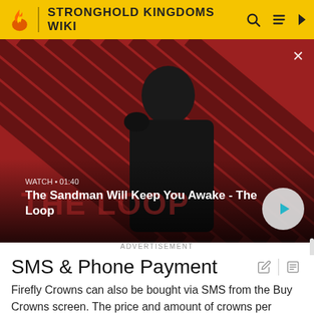STRONGHOLD KINGDOMS WIKI
[Figure (screenshot): Video thumbnail for 'The Sandman Will Keep You Awake - The Loop' with a dark-clad figure against a red and black striped background. Shows WATCH • 01:40 label and a play button.]
ADVERTISEMENT
SMS & Phone Payment
Firefly Crowns can also be bought via SMS from the Buy Crowns screen. The price and amount of crowns per